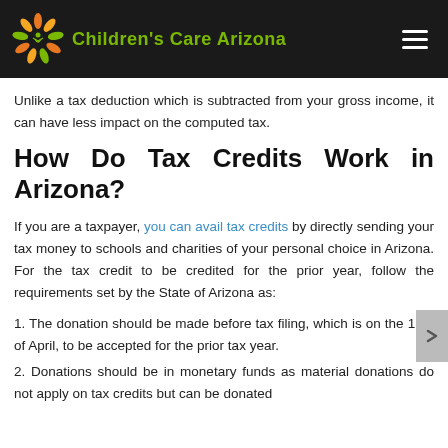Children's Care Arizona
Unlike a tax deduction which is subtracted from your gross income, it can have less impact on the computed tax.
How Do Tax Credits Work in Arizona?
If you are a taxpayer, you can avail tax credits by directly sending your tax money to schools and charities of your personal choice in Arizona. For the tax credit to be credited for the prior year, follow the requirements set by the State of Arizona as:
1. The donation should be made before tax filing, which is on the 15th of April, to be accepted for the prior tax year.
2. Donations should be in monetary funds as material donations do not apply on tax credits but can be donated to the organization for good in kind at lib...